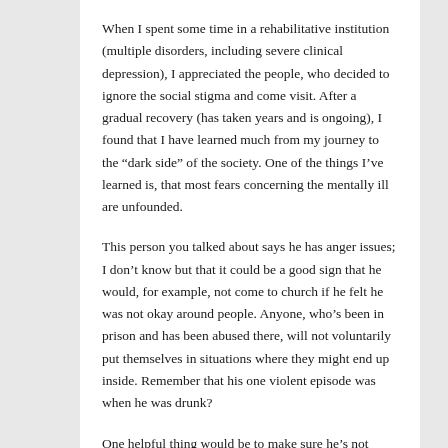When I spent some time in a rehabilitative institution (multiple disorders, including severe clinical depression), I appreciated the people, who decided to ignore the social stigma and come visit. After a gradual recovery (has taken years and is ongoing), I found that I have learned much from my journey to the “dark side” of the society. One of the things I’ve learned is, that most fears concerning the mentally ill are unfounded.
This person you talked about says he has anger issues; I don’t know but that it could be a good sign that he would, for example, not come to church if he felt he was not okay around people. Anyone, who’s been in prison and has been abused there, will not voluntarily put themselves in situations where they might end up inside. Remember that his one violent episode was when he was drunk?
One helpful thing would be to make sure he’s not